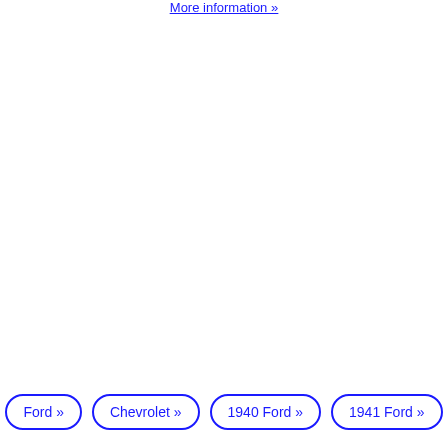More Information »
Ford »
Chevrolet »
1940 Ford »
1941 Ford »